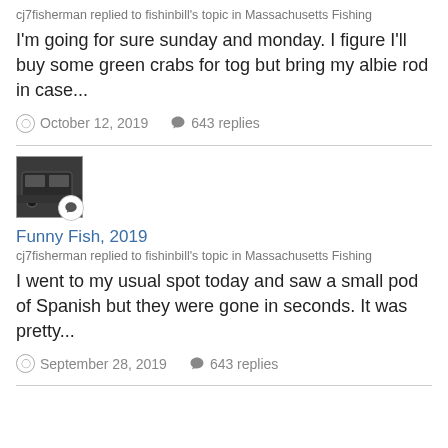cj7fisherman replied to fishinbill's topic in Massachusetts Fishing
I'm going for sure sunday and monday. I figure I'll buy some green crabs for tog but bring my albie rod in case...
October 12, 2019   643 replies
[Figure (photo): Avatar image showing a vehicle or trailer, with a speech bubble badge overlay]
Funny Fish, 2019
cj7fisherman replied to fishinbill's topic in Massachusetts Fishing
I went to my usual spot today and saw a small pod of Spanish but they were gone in seconds. It was pretty...
September 28, 2019   643 replies